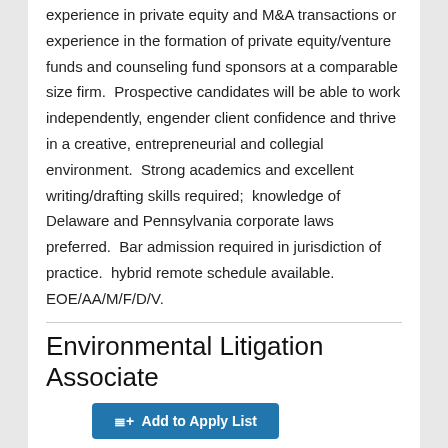experience in private equity and M&A transactions or experience in the formation of private equity/venture funds and counseling fund sponsors at a comparable size firm.  Prospective candidates will be able to work independently, engender client confidence and thrive in a creative, entrepreneurial and collegial environment.  Strong academics and excellent writing/drafting skills required;  knowledge of Delaware and Pennsylvania corporate laws preferred.  Bar admission required in jurisdiction of practice.  hybrid remote schedule available.  EOE/AA/M/F/D/V.
Environmental Litigation Associate
≡+ Add to Apply List
Duane Morris LLP is looking to add an associate with between 4-6 years of hands-on experience for its